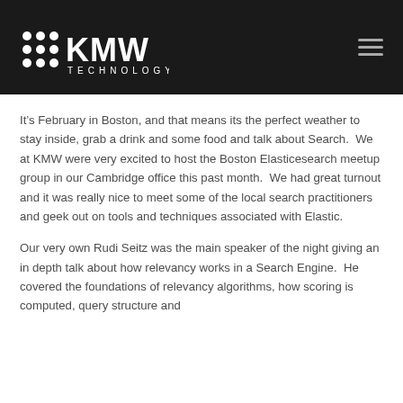KMW Technology
It’s February in Boston, and that means its the perfect weather to stay inside, grab a drink and some food and talk about Search.  We at KMW were very excited to host the Boston Elasticesearch meetup group in our Cambridge office this past month.  We had great turnout and it was really nice to meet some of the local search practitioners and geek out on tools and techniques associated with Elastic.
Our very own Rudi Seitz was the main speaker of the night giving an in depth talk about how relevancy works in a Search Engine.  He covered the foundations of relevancy algorithms, how scoring is computed, query structure and